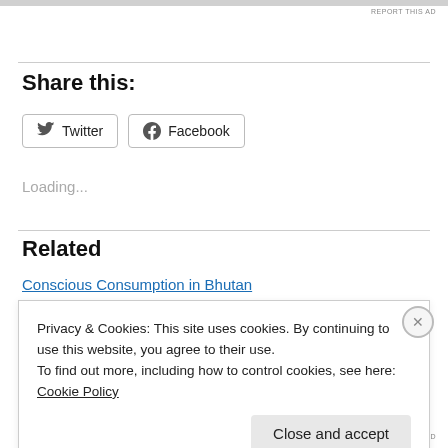REPORT THIS AD
Share this:
[Figure (other): Twitter share button with bird icon]
[Figure (other): Facebook share button with f icon]
Loading...
Related
Conscious Consumption in Bhutan
Privacy & Cookies: This site uses cookies. By continuing to use this website, you agree to their use.
To find out more, including how to control cookies, see here: Cookie Policy
Close and accept
REPORT THIS AD